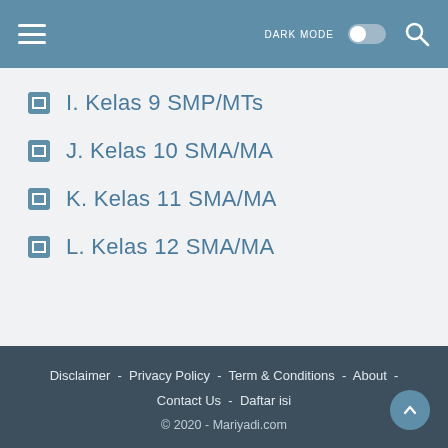DARK MODE [toggle] [search]
I. Kelas 9 SMP/MTs
J. Kelas 10 SMA/MA
K. Kelas 11 SMA/MA
L. Kelas 12 SMA/MA
Disclaimer  -  Privacy Policy  -  Term & Conditions  -  About  -  Contact Us  -  Daftar isi
© 2020 - Mariyadi.com